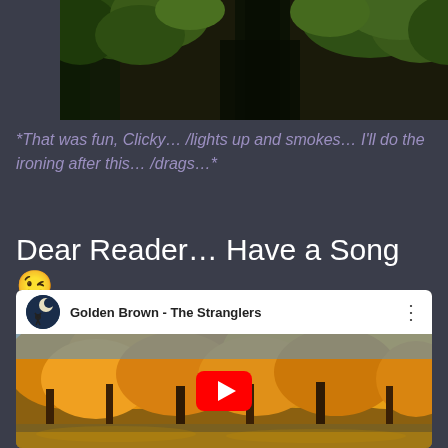[Figure (photo): Partial view of forest/trees with dark tones, top portion of image visible]
*That was fun, Clicky… /lights up and smokes… I'll do the ironing after this… /drags…*
Dear Reader… Have a Song 😉
[Figure (screenshot): YouTube video embed showing 'Golden Brown - The Stranglers' with autumn trees thumbnail and red play button]